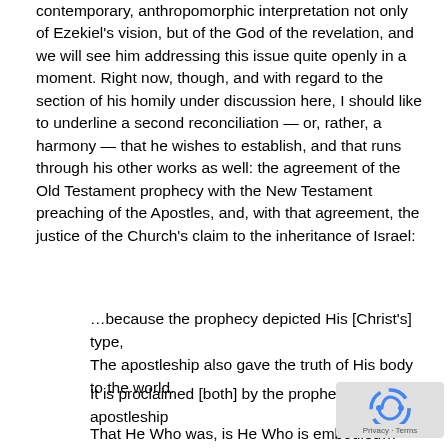contemporary, anthropomorphic interpretation not only of Ezekiel's vision, but of the God of the revelation, and we will see him addressing this issue quite openly in a moment. Right now, though, and with regard to the section of his homily under discussion here, I should like to underline a second reconciliation — or, rather, a harmony — that he wishes to establish, and that runs through his other works as well: the agreement of the Old Testament prophecy with the New Testament preaching of the Apostles, and, with that agreement, the justice of the Church's claim to the inheritance of Israel:
…because the prophecy depicted His [Christ's] type, The apostleship also gave the truth of His body to the world.
It is proclaimed [both] by the prophecy and the apostleship
That He Who was, is He Who is embodied…
…while those younger in the Spirit [the Apostles] declared that He had
become a man.